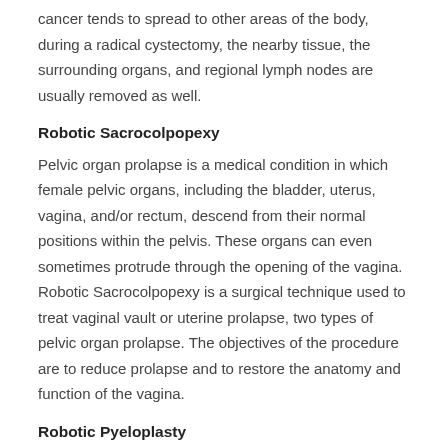cancer tends to spread to other areas of the body, during a radical cystectomy, the nearby tissue, the surrounding organs, and regional lymph nodes are usually removed as well.
Robotic Sacrocolpopexy
Pelvic organ prolapse is a medical condition in which female pelvic organs, including the bladder, uterus, vagina, and/or rectum, descend from their normal positions within the pelvis. These organs can even sometimes protrude through the opening of the vagina. Robotic Sacrocolpopexy is a surgical technique used to treat vaginal vault or uterine prolapse, two types of pelvic organ prolapse. The objectives of the procedure are to reduce prolapse and to restore the anatomy and function of the vagina.
Robotic Pyeloplasty
When urine is formed by the kidney, it pools in an area